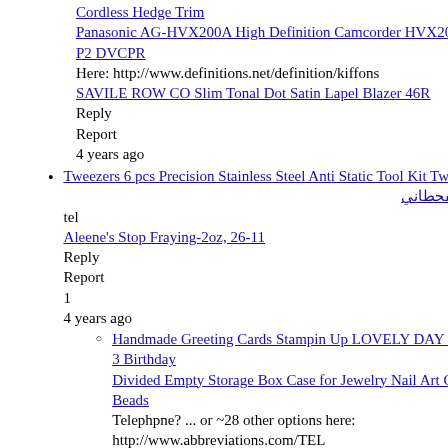Cordless Hedge Trim
Panasonic AG-HVX200A High Definition Camcorder HVX200 A P2 DVCPR
Here: http://www.definitions.net/definition/kiffons
SAVILE ROW CO Slim Tonal Dot Satin Lapel Blazer 46R
Reply
Report
4 years ago
Tweezers 6 pcs Precision Stainless Steel Anti Static Tool Kit Tw
مها الفحطاني
tel
Aleene's Stop Fraying-2oz, 26-11
Reply
Report
1
4 years ago
Handmade Greeting Cards Stampin Up LOVELY DAY Set of 3 Birthday
Divided Empty Storage Box Case for Jewelry Nail Art Craft Beads
Telephpne? ... or ~28 other options here: http://www.abbreviations.com/TEL
Victorian Cut Glass Cupboard Knob Handle Pull